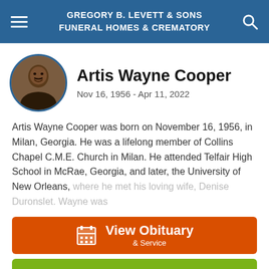GREGORY B. LEVETT & SONS FUNERAL HOMES & CREMATORY
Artis Wayne Cooper
Nov 16, 1956 - Apr 11, 2022
Artis Wayne Cooper was born on November 16, 1956, in Milan, Georgia. He was a lifelong member of Collins Chapel C.M.E. Church in Milan. He attended Telfair High School in McRae, Georgia, and later, the University of New Orleans, where he met his loving wife, Denise Duronslet. Wayne was
View Obituary & Service
Send Flowers